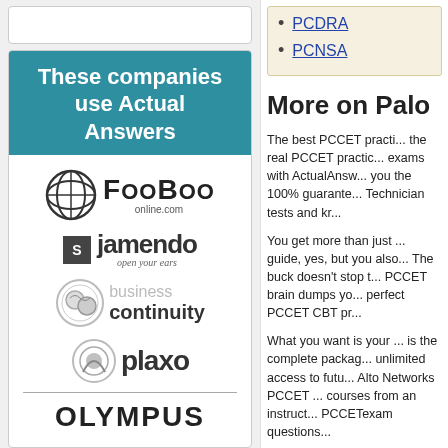[Figure (other): White empty box at top left]
These companies use Actual Answers
[Figure (logo): Fooboo online.com logo]
[Figure (logo): Jamendo - open your ears logo]
[Figure (logo): Business Continuity logo]
[Figure (logo): Plaxo logo]
[Figure (logo): Olympus logo]
PCDRA
PCNSA
More on Palo
The best PCCET practi... the real PCCET practic... exams with ActualAnsw... you the 100% guarante... Technician tests and kr...
You get more than just ... guide, yes, but you also... The buck doesn't stop t... PCCET brain dumps yo... perfect PCCET CBT pr...
What you want is your ... is the complete packag... unlimited access to futu... Alto Networks PCCET ... courses from an instruct... PCCETexam questions...